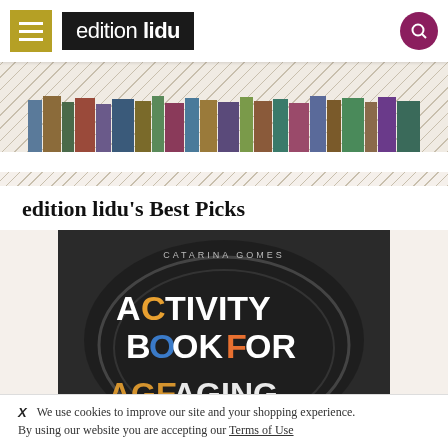edition lidu
[Figure (photo): Book cover of 'Activity Book for Aging' by Catarina Gomes — dark textured background with colorful illustrated letters spelling 'ACTIVITY BOOK FOR' and partial title at bottom, with author name at top]
edition lidu's Best Picks
We use cookies to improve our site and your shopping experience. By using our website you are accepting our Terms of Use